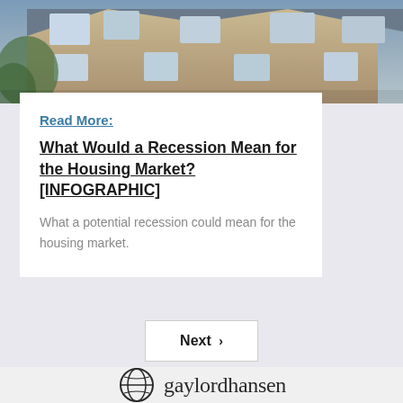[Figure (photo): Photo of a house exterior with brick/stone facade and windows, partially cropped at top]
Read More:
What Would a Recession Mean for the Housing Market? [INFOGRAPHIC]
What a potential recession could mean for the housing market.
Next ›
[Figure (logo): Gaylord Hansen logo with circular emblem and text 'gaylordhansen']